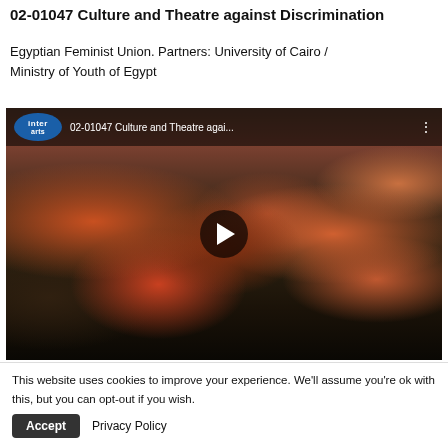02-01047 Culture and Theatre against Discrimination
Egyptian Feminist Union. Partners: University of Cairo / Ministry of Youth of Egypt
[Figure (screenshot): Video thumbnail showing an audience seated in orange chairs at a theatre or conference hall. The video overlay bar shows the Inter Arts logo and title '02-01047 Culture and Theatre agai...' with a play button in the center.]
This website uses cookies to improve your experience. We'll assume you're ok with this, but you can opt-out if you wish.